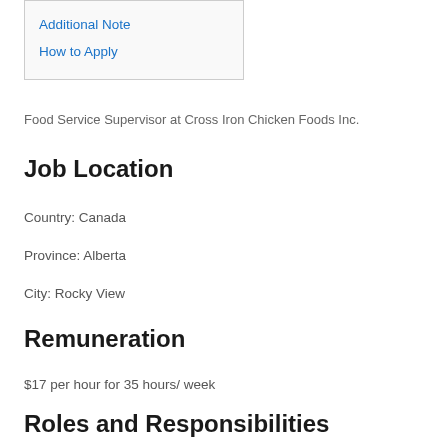Additional Note
How to Apply
Food Service Supervisor at Cross Iron Chicken Foods Inc.
Job Location
Country: Canada
Province: Alberta
City: Rocky View
Remuneration
$17 per hour for 35 hours/ week
Roles and Responsibilities